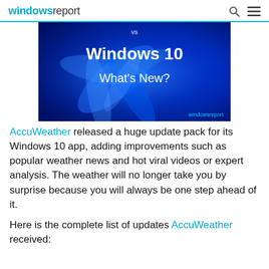windows report
[Figure (illustration): Hero image with blue Windows 11 wallpaper swirl design. Text overlay reads 'vs Windows 10 What's New?' with 'windowsreport' watermark at bottom right.]
AccuWeather released a huge update pack for its Windows 10 app, adding improvements such as popular weather news and hot viral videos or expert analysis. The weather will no longer take you by surprise because you will always be one step ahead of it.
Here is the complete list of updates AccuWeather received: